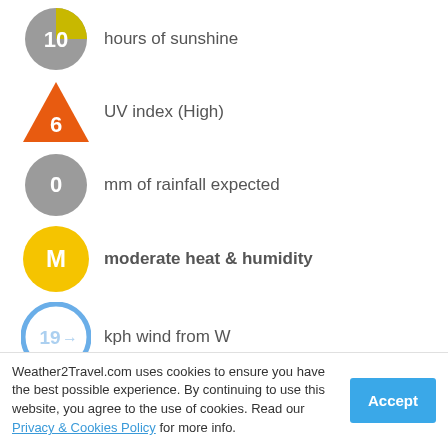10 hours of sunshine
6 UV index (High)
0 mm of rainfall expected
M moderate heat & humidity
19 kph wind from W
Back to top
Auto Europe: Cheap car hire deals worldwide
Weather2Travel.com uses cookies to ensure you have the best possible experience. By continuing to use this website, you agree to the use of cookies. Read our Privacy & Cookies Policy for more info.